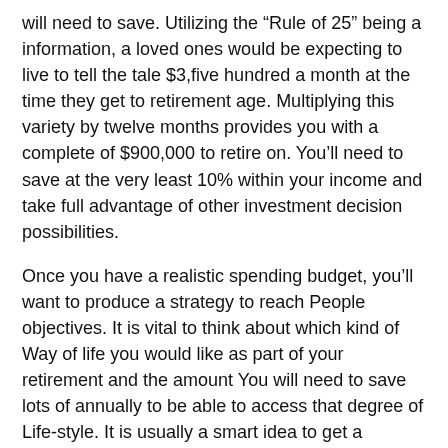will need to save. Utilizing the “Rule of 25” being a information, a loved ones would be expecting to live to tell the tale $3,five hundred a month at the time they get to retirement age. Multiplying this variety by twelve months provides you with a complete of $900,000 to retire on. You’ll need to save at the very least 10% within your income and take full advantage of other investment decision possibilities.
Once you have a realistic spending budget, you’ll want to produce a strategy to reach People objectives. It is vital to think about which kind of Way of life you would like as part of your retirement and the amount You will need to save lots of annually to be able to access that degree of Life-style. It is usually a smart idea to get a detailed have a look at your costs. Do you expend money on leisure, shopping, and day-to-working day expenditures? In that case, you might want to think about delaying your retirement to get a handful of a lot more decades.